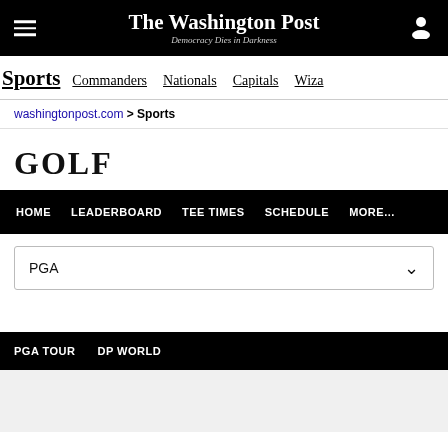The Washington Post — Democracy Dies in Darkness
Sports  Commanders  Nationals  Capitals  Wiza
washingtonpost.com > Sports
GOLF
HOME  LEADERBOARD  TEE TIMES  SCHEDULE  MORE...
PGA
PGA TOUR  DP WORLD